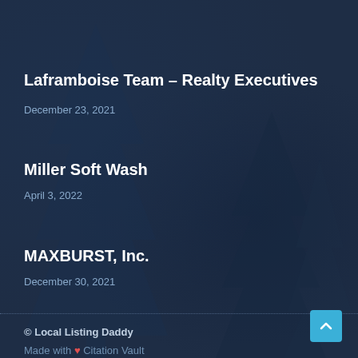Laframboise Team – Realty Executives
December 23, 2021
Miller Soft Wash
April 3, 2022
MAXBURST, Inc.
December 30, 2021
© Local Listing Daddy
Made with ❤ Citation Vault